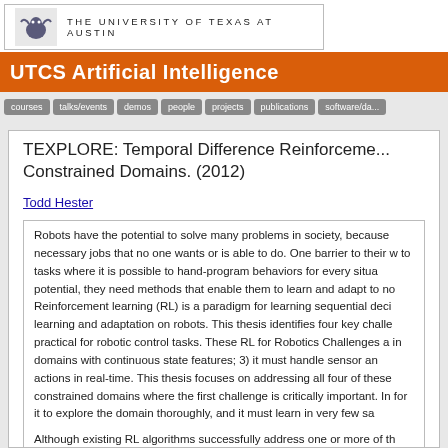[Figure (logo): The University of Texas at Austin logo with longhorn icon and university name]
UTCS Artificial Intelligence
courses | talks/events | demos | people | projects | publications | software/da...
TEXPLORE: Temporal Difference Reinforcement Learning in Sample and Time Constrained Domains. (2012)
Todd Hester
Robots have the potential to solve many problems in society, because they can perform necessary jobs that no one wants or is able to do. One barrier to their widespread use is that to tasks where it is possible to hand-program behaviors for every situation. To reach their full potential, they need methods that enable them to learn and adapt to novel situations. Reinforcement learning (RL) is a paradigm for learning sequential decision making that can enable learning and adaptation on robots. This thesis identifies four key challenges that make RL practical for robotic control tasks. These RL for Robotics Challenges are: 1)... in domains with continuous state features; 3) it must handle sensor and... actions in real-time. This thesis focuses on addressing all four of these challenges, particularly in constrained domains where the first challenge is critically important. In... for it to explore the domain thoroughly, and it must learn in very few sa...
Although existing RL algorithms successfully address one or more of th... addresses all four of them. To fill this gap, this thesis introduces TEXPL... TEXPLORE is a model-based RL method that learns a random forest m... unseen states. Each tree in the random forest model represents a hyp...